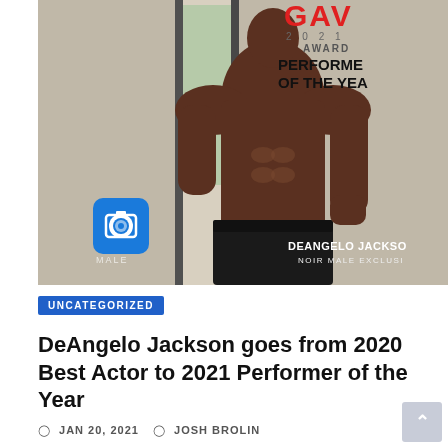[Figure (photo): Promotional photo of DeAngelo Jackson, a muscular Black man shirtless in black shorts, posed against a doorframe with a GAV Awards 2021 Performer of the Year overlay in the upper right and Noir Male branding]
UNCATEGORIZED
DeAngelo Jackson goes from 2020 Best Actor to 2021 Performer of the Year
JAN 20, 2021   JOSH BROLIN
After making history last year (2020) as the first Black gay